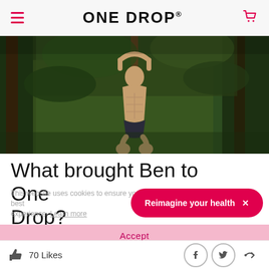ONE DROP
[Figure (photo): Muscular man doing a pull-up on a bar in a forest setting]
What brought Ben to One Drop?
This website uses cookies to ensure you get the best experience. Learn more
Reimagine your health  ✕
Accept
70 Likes